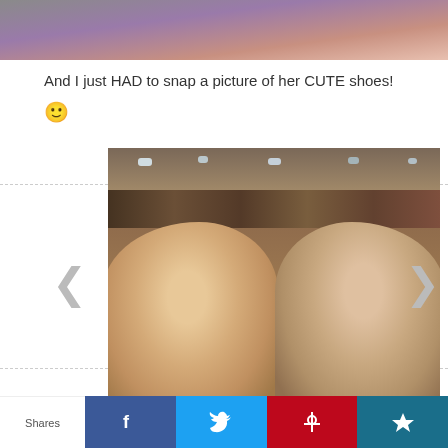[Figure (photo): Top portion of a photo showing purple clothing and skin tones, cropped]
And I just HAD to snap a picture of her CUTE shoes! 🙂
[Figure (photo): Two women smiling together in what appears to be a bookstore or event venue with photo banners on the wall. Navigation arrows on the left and right sides of the image slider.]
Shares  [Facebook] [Twitter] [Pinterest] [Other]